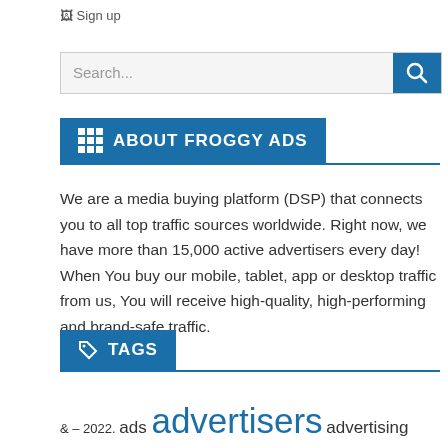[Figure (screenshot): Sign up image placeholder icon]
[Figure (screenshot): Search bar with text 'Search...' and a blue search button with magnifying glass icon]
ABOUT FROGGY ADS
We are a media buying platform (DSP) that connects you to all top traffic sources worldwide. Right now, we have more than 15,000 active advertisers every day! When You buy our mobile, tablet, app or desktop traffic from us, You will receive high-quality, high-performing and brand-safe traffic.
TAGS
& – 2022. ads advertisers advertising Advertising Business affiliate and banners best blog Business business management case study digital for how